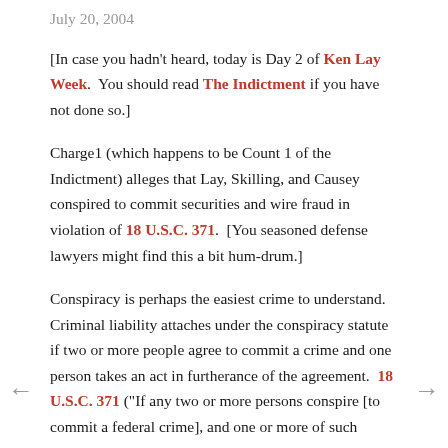July 20, 2004
[In case you hadn't heard, today is Day 2 of Ken Lay Week.  You should read The Indictment if you have not done so.]
Charge1 (which happens to be Count 1 of the Indictment) alleges that Lay, Skilling, and Causey conspired to commit securities and wire fraud in violation of 18 U.S.C. 371.  [You seasoned defense lawyers might find this a bit hum-drum.]
Conspiracy is perhaps the easiest crime to understand.  Criminal liability attaches under the conspiracy statute if two or more people agree to commit a crime and one person takes an act in furtherance of the agreement.  18 U.S.C. 371 ("If any two or more persons conspire [to commit a federal crime], and one or more of such